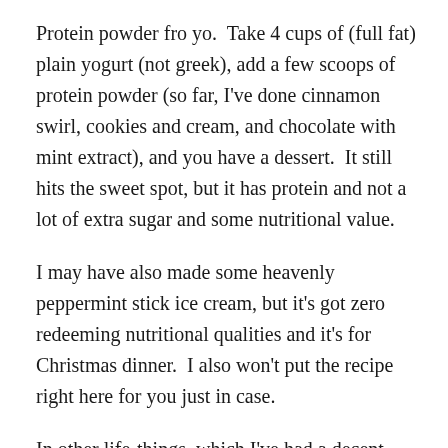Protein powder fro yo.  Take 4 cups of (full fat) plain yogurt (not greek), add a few scoops of protein powder (so far, I've done cinnamon swirl, cookies and cream, and chocolate with mint extract), and you have a dessert.  It still hits the sweet spot, but it has protein and not a lot of extra sugar and some nutritional value.
I may have also made some heavenly peppermint stick ice cream, but it's got zero redeeming nutritional qualities and it's for Christmas dinner.  I also won't put the recipe right here for you just in case.
In other life-things, which I've had a decent amount of, because I haven't been training my face off: